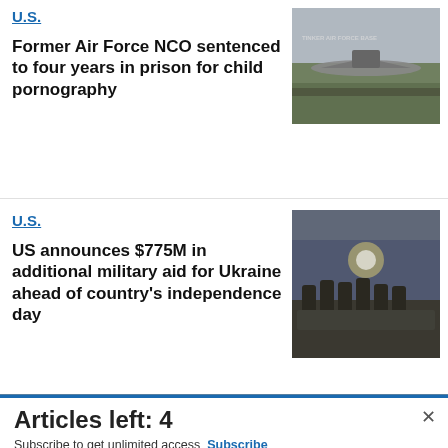U.S.
Former Air Force NCO sentenced to four years in prison for child pornography
[Figure (photo): Photo of a military aircraft on a runway at what appears to be Tinker Air Force Base]
U.S.
US announces $775M in additional military aid for Ukraine ahead of country's independence day
[Figure (photo): Photo of military personnel loading equipment onto a military transport aircraft]
[Figure (infographic): Commissary Click2Go advertisement banner with green logo, commissary badge, and text 'order groceries | PICKUP']
Articles left: 4
Subscribe to get unlimited access Subscribe
Already have an account? Login here